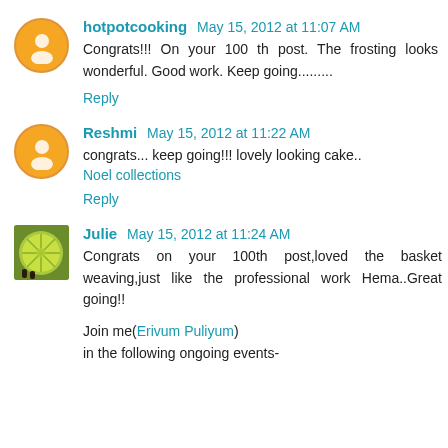hotpotcooking May 15, 2012 at 11:07 AM
Congrats!!! On your 100 th post. The frosting looks wonderful. Good work. Keep going.........
Reply
Reshmi May 15, 2012 at 11:22 AM
congrats... keep going!!! lovely looking cake..
Noel collections
Reply
Julie May 15, 2012 at 11:24 AM
Congrats on your 100th post,loved the basket weaving,just like the professional work Hema..Great going!!

Join me(Erivum Puliyum)
in the following ongoing events-